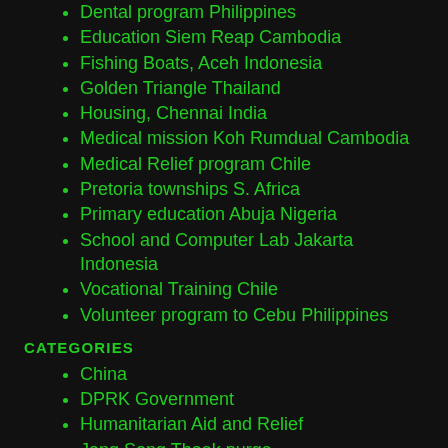Dental program Philippines
Education Siem Reap Cambodia
Fishing Boats, Aceh Indonesia
Golden Triangle Thailand
Housing, Chennai India
Medical mission Koh Rumdual Cambodia
Medical Relief program Chile
Pretoria townships S. Africa
Primary education Abuja Nigeria
School and Computer Lab Jakarta Indonesia
Vocational Training Chile
Volunteer program to Cebu Philippines
CATEGORIES
China
DPRK Government
Humanitarian Aid and Relief
Jang Song Thaek purge